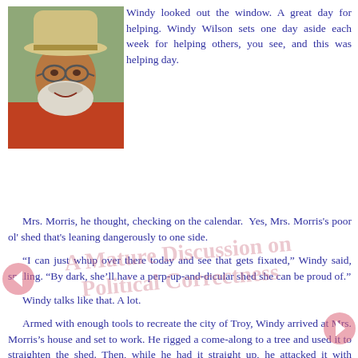[Figure (photo): Portrait photo of an older man with a white beard, glasses, and a cowboy hat, wearing an orange shirt]
Windy looked out the window. A great day for helping. Windy Wilson sets one day aside each week for helping others, you see, and this was helping day.
Mrs. Morris, he thought, checking on the calendar. Yes, Mrs. Morris's poor ol' shed that's leaning dangerously to one side.
“I can just whup over there today and see that gets fixated,” Windy said, smiling. “By dark, she’ll have a perp-up-and-dicular shed she can be proud of.”
Windy talks like that. A lot.
Armed with enough tools to recreate the city of Troy, Windy arrived at Mrs. Morris’s house and set to work. He rigged a come-along to a tree and used it to straighten the shed. Then, while he had it straight up, he attacked it with bracing.